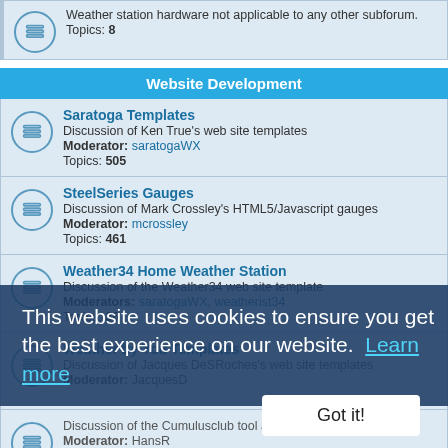Weather station hardware not applicable to any other subforum. Topics: 8
Website Development
Saratoga Templates - Discussion of Ken True's web site templates. Moderator: saratogaWX. Topics: 505
SteelSeries Gauges - Discussion of Mark Crossley's HTML5/Javascript gauges. Moderator: mcrossley. Topics: 461
Weather34 Home Weather Station - Discussion of the Weather34 web site template. Moderators: saratogaWX, weatherist34. Topics: 36
Weather by You Templates - Discussion of Jacques DeSRoches's web site templates. Moderator: JacquesD.
Discussion of the Cumulusclub tool and website generator. Moderator: HansR. Topics: 36
Web site - General - Other discussion about creating web sites for Cumulus that doesn't have a specific subforum. Moderator: daj
This website uses cookies to ensure you get the best experience on our website. Learn more
Got it!